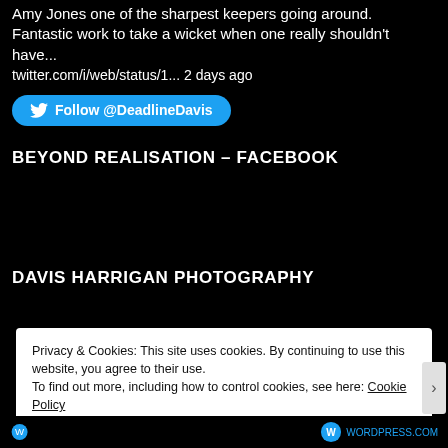Amy Jones one of the sharpest keepers going around. Fantastic work to take a wicket when one really shouldn't have... twitter.com/i/web/status/1... 2 days ago
[Figure (other): Twitter Follow button for @DeadlineDavis with Twitter bird icon, blue rounded rectangle button]
BEYOND REALISATION – FACEBOOK
DAVIS HARRIGAN PHOTOGRAPHY
Privacy & Cookies: This site uses cookies. By continuing to use this website, you agree to their use.
To find out more, including how to control cookies, see here: Cookie Policy
Close and accept